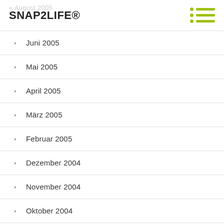August 2005 — SNAP2LIFE®
> Juni 2005
> Mai 2005
> April 2005
> März 2005
> Februar 2005
> Dezember 2004
> November 2004
> Oktober 2004
> September 2004
> August 2004
> Juni 2004
> Mai 2004